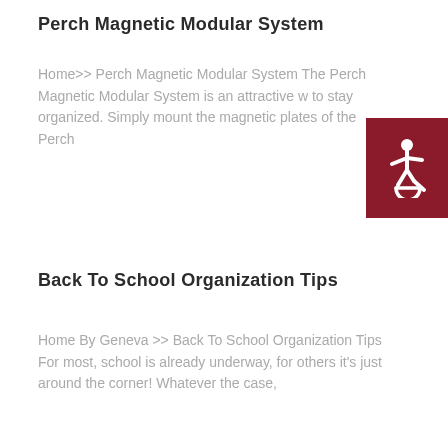Perch Magnetic Modular System
Home>> Perch Magnetic Modular System The Perch Magnetic Modular System is an attractive w to stay organized. Simply mount the magnetic plates of the Perch
[Figure (illustration): Dark red square with white wheelchair accessibility icon]
Back To School Organization Tips
Home By Geneva >> Back To School Organization Tips For most, school is already underway, for others it's just around the corner! Whatever the case,